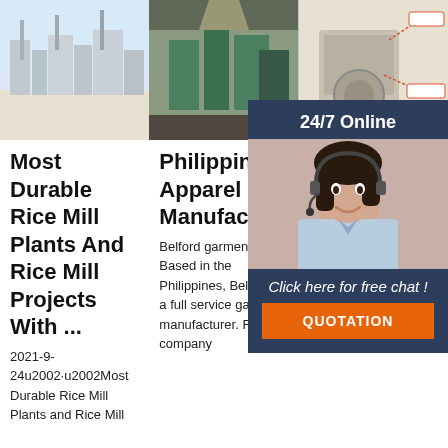[Figure (photo): Rice mill plant machinery/equipment outdoors, light blue sky background]
[Figure (photo): Large industrial rice mill plant interior with green machinery]
[Figure (photo): Oil press or rice mill machinery with labels/annotations]
Most Durable Rice Mill Plants And Rice Mill Projects With ...
Philippines Apparel Manufacturers
20 F...
Belford garment. Based in the Philippines, Belford is a full service garment manufacturer. From company
2021-9-24u2002·u2002Most Durable Rice Mill Plants and Rice Mill
2019 Gathe Factory Price For Photo Accessories With
24/7 Online
Click here for free chat !
QUOTATION